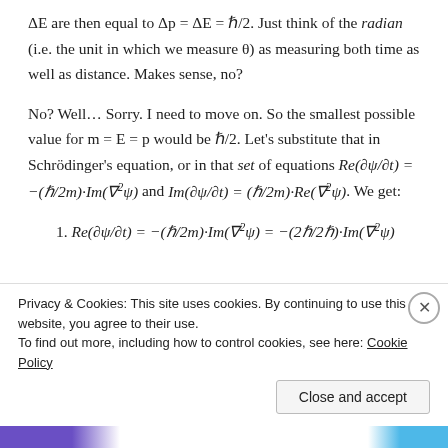ΔE are then equal to Δp = ΔE = ℏ/2. Just think of the radian (i.e. the unit in which we measure θ) as measuring both time as well as distance. Makes sense, no?
No? Well… Sorry. I need to move on. So the smallest possible value for m = E = p would be ℏ/2. Let's substitute that in Schrödinger's equation, or in that set of equations Re(∂ψ/∂t) = −(ℏ/2m)·Im(∇²ψ) and Im(∂ψ/∂t) = (ℏ/2m)·Re(∇²ψ). We get:
1. Re(∂ψ/∂t) = −(ℏ/2m)·Im(∇²ψ) = −(2ℏ/2ℏ)·Im(∇²ψ)
Privacy & Cookies: This site uses cookies. By continuing to use this website, you agree to their use. To find out more, including how to control cookies, see here: Cookie Policy